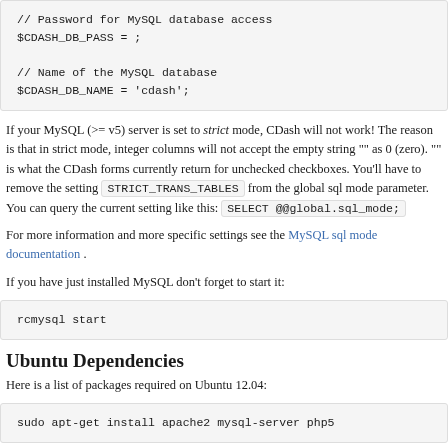// Password for MySQL database access
$CDASH_DB_PASS = ;

// Name of the MySQL database
$CDASH_DB_NAME = 'cdash';
If your MySQL (>= v5) server is set to strict mode, CDash will not work! The reason is that in strict mode, integer columns will not accept the empty string "" as 0 (zero). "" is what the CDash forms currently return for unchecked checkboxes. You'll have to remove the setting STRICT_TRANS_TABLES from the global sql mode parameter. You can query the current setting like this: SELECT @@global.sql_mode;
For more information and more specific settings see the MySQL sql mode documentation .
If you have just installed MySQL don't forget to start it:
rcmysql start
Ubuntu Dependencies
Here is a list of packages required on Ubuntu 12.04:
sudo apt-get install apache2 mysql-server php5